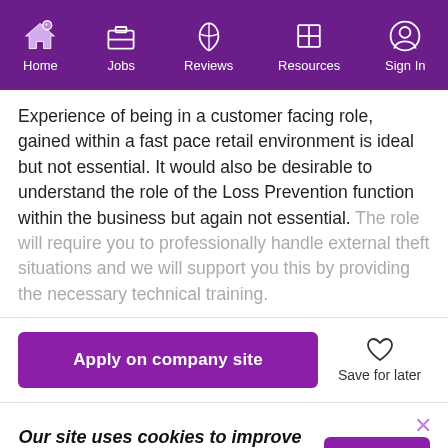Home | Jobs | Reviews | Resources | Sign In
Experience of being in a customer facing role, gained within a fast pace retail environment is ideal but not essential. It would also be desirable to understand the role of the Loss Prevention function within the business but again not essential. The role will require you to professionally handle external theft situations and we will support you this by providing the necessary technical training.
Apply on company site
Save for later
Our site uses cookies to improve your experience. Read More
Got It!